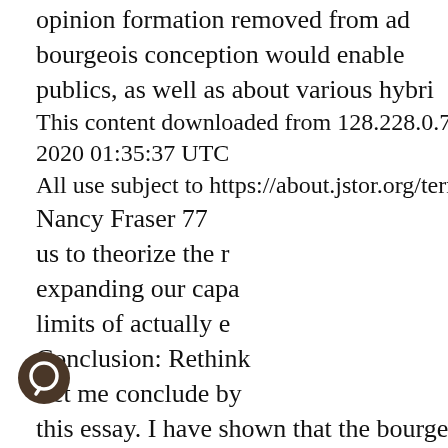opinion formation removed from ad
bourgeois conception would enable
publics, as well as about various hybri
This content downloaded from 128.228.0.70 on Thu, 28 Ma 2020 01:35:37 UTC
All use subject to https://about.jstor.org/terms
Nancy Fraser 77
us to theorize the r
expanding our capa
limits of actually e
Conclusion: Rethink
Let me conclude by
this essay. I have shown that the bourgeois conception of th
public
sphere, as described by Habermas, is not adequate for the
que of the
limits of actually existing democracy in late capitalist